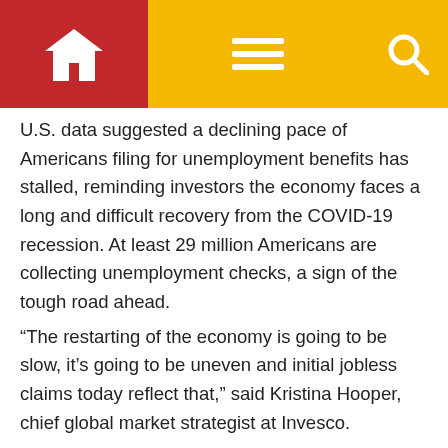Navigation bar with home, menu, and search icons
U.S. data suggested a declining pace of Americans filing for unemployment benefits has stalled, reminding investors the economy faces a long and difficult recovery from the COVID-19 recession. At least 29 million Americans are collecting unemployment checks, a sign of the tough road ahead.
“The restarting of the economy is going to be slow, it’s going to be uneven and initial jobless claims today reflect that,” said Kristina Hooper, chief global market strategist at Invesco.
Rising coronavirus infection rates raises the question of what happens if that continues, Hooper said, noting that many states will not reimpose lockdowns because they want to allow economic activity to continue.
“You could have a situation where infections continue to rise, but it doesn’t necessarily have the impact on